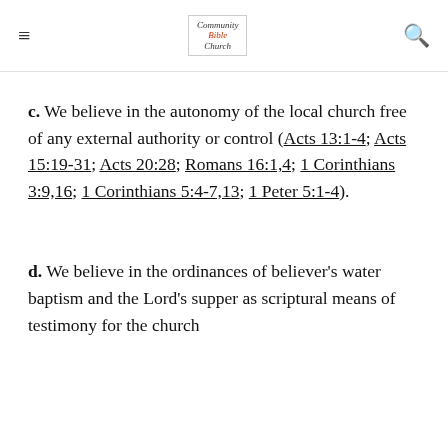Community Bible Church [logo] [hamburger menu] [search icon]
c. We believe in the autonomy of the local church free of any external authority or control (Acts 13:1-4; Acts 15:19-31; Acts 20:28; Romans 16:1,4; 1 Corinthians 3:9,16; 1 Corinthians 5:4-7,13; 1 Peter 5:1-4).
d. We believe in the ordinances of believer's water baptism and the Lord's supper as scriptural means of testimony for the church